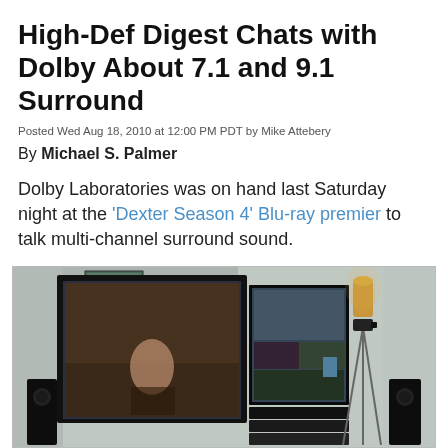High-Def Digest Chats with Dolby About 7.1 and 9.1 Surround
Posted Wed Aug 18, 2010 at 12:00 PM PDT by Mike Attebery
By Michael S. Palmer
Dolby Laboratories was on hand last Saturday night at the 'Dexter Season 4' Blu-ray premier to talk multi-channel surround sound.
Here's a quick round up of what's available now in your local cinema, and for your home theater.
[Figure (photo): Home theater room with large flat-screen TV, monitor, speakers, equipment rack, tripod-mounted camera, and wall sconce light]